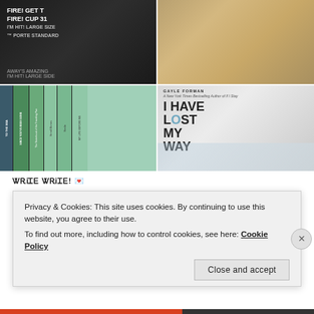[Figure (photo): Top row: two photos side by side. Left: dark photo of book spines with text including FIRE!. Right: photo of a cat on a bookshelf.]
[Figure (photo): Bottom row: two photos side by side. Left: colorful book spines including 'Salt to the Sea', 'Since You've Been Gone', 'The Sisterhood of the Traveling Pants', 'Small Bones', 'Smile', 'My Life Before Me'. Right: person holding 'I Have Lost My Way' by Gayle Forman in a bookstore.]
ᏔᎡᎥᏆᎬ ᏔᎡᎥᏆᎬ! 💌
Privacy & Cookies: This site uses cookies. By continuing to use this website, you agree to their use.
To find out more, including how to control cookies, see here: Cookie Policy
Close and accept